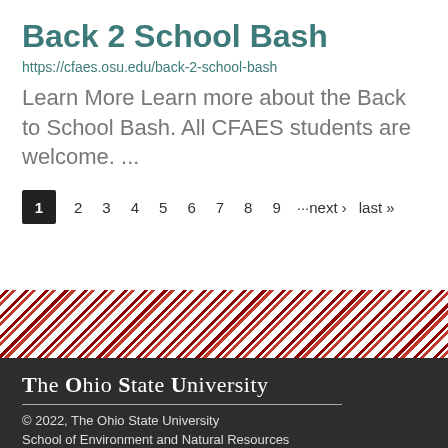Back 2 School Bash
https://cfaes.osu.edu/back-2-school-bash
Learn More Learn more about the Back to School Bash. All CFAES students are welcome. ...
1  2  3  4  5  6  7  8  9  ···next ›  last »
[Figure (other): Diagonal red and white stripe decorative banner]
The Ohio State University
© 2022, The Ohio State University
School of Environment and Natural Resources